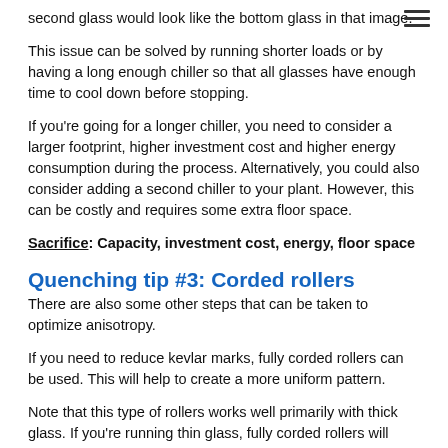second glass would look like the bottom glass in that image.
This issue can be solved by running shorter loads or by having a long enough chiller so that all glasses have enough time to cool down before stopping.
If you're going for a longer chiller, you need to consider a larger footprint, higher investment cost and higher energy consumption during the process. Alternatively, you could also consider adding a second chiller to your plant. However, this can be costly and requires some extra floor space.
Sacrifice: Capacity, investment cost, energy, floor space
Quenching tip #3: Corded rollers
There are also some other steps that can be taken to optimize anisotropy.
If you need to reduce kevlar marks, fully corded rollers can be used. This will help to create a more uniform pattern.
Note that this type of rollers works well primarily with thick glass. If you're running thin glass, fully corded rollers will prevent air flow in the chiller, causing glass quality issues.
Sacrifice: Quality